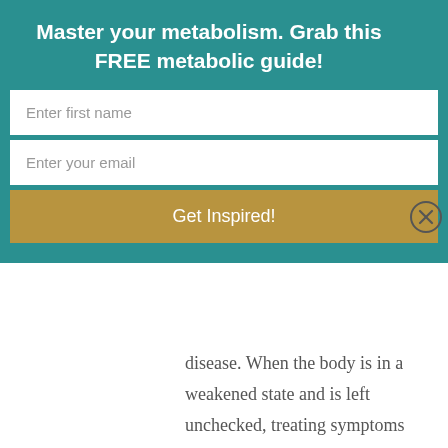Master your metabolism. Grab this FREE metabolic guide!
Enter first name
Enter your email
Get Inspired!
disease. When the body is in a weakened state and is left unchecked, treating symptoms only leads to a worsened disease state. Symptoms may be far removed from the actual stressors. The problem is, the stressors are still extreme if you never address those when working to heal your body. This is why so many people